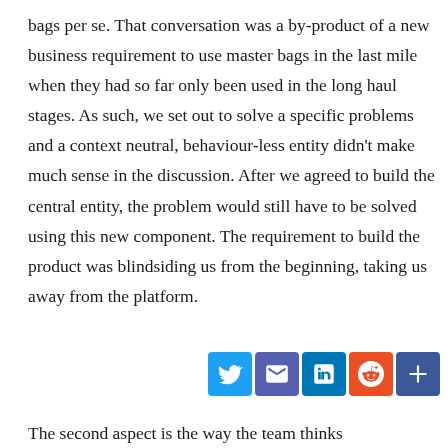bags per se. That conversation was a by-product of a new business requirement to use master bags in the last mile when they had so far only been used in the long haul stages. As such, we set out to solve a specific problems and a context neutral, behaviour-less entity didn't make much sense in the discussion. After we agreed to build the central entity, the problem would still have to be solved using this new component. The requirement to build the product was blindsiding us from the beginning, taking us away from the platform.
[Figure (other): Social share buttons: Twitter (blue bird), Email (envelope), LinkedIn (in logo), Reddit (alien logo), Share/More (plus icon)]
The second aspect is the way the team thinks